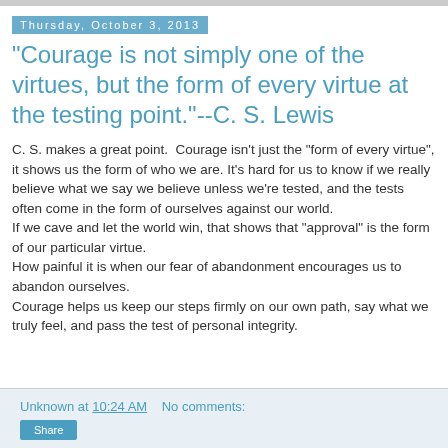Thursday, October 3, 2013
"Courage is not simply one of the virtues, but the form of every virtue at the testing point."--C. S. Lewis
C. S. makes a great point.  Courage isn't just the "form of every virtue", it shows us the form of who we are. It's hard for us to know if we really believe what we say we believe unless we're tested, and the tests often come in the form of ourselves against our world.
If we cave and let the world win, that shows that "approval" is the form of our particular virtue.
How painful it is when our fear of abandonment encourages us to abandon ourselves.
Courage helps us keep our steps firmly on our own path, say what we truly feel, and pass the test of personal integrity.
Unknown at 10:24 AM   No comments: